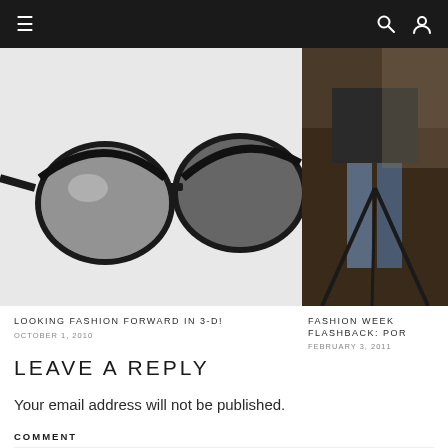[Figure (screenshot): Navigation bar with hamburger menu on left and search/user icons on right, dark background]
[Figure (photo): Close-up of black sunglasses with reflective lenses on white/gray background]
[Figure (photo): Fashion photo showing person in jeans, dark background, right side]
LOOKING FASHION FORWARD IN 3-D!
OCTOBER 1, 2010
FASHION WEEK FLASHBACK: POR
FEBRUARY 3, 2011
LEAVE A REPLY
Your email address will not be published.
COMMENT